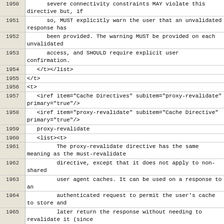| Line | Code |
| --- | --- |
| 1950 |       severe connectivity constraints MAY violate this directive but, if |
| 1951 |       so, MUST explicitly warn the user that an unvalidated response has |
| 1952 |       been provided. The warning MUST be provided on each unvalidated |
| 1953 |       access, and SHOULD require explicit user confirmation. |
| 1954 |    </t></list> |
| 1955 | </t> |
| 1956 | <t> |
| 1957 |    <iref item="Cache Directives" subitem="proxy-revalidate" primary="true"/> |
| 1958 |    <iref item="proxy-revalidate" subitem="Cache Directive" primary="true"/> |
| 1959 |    proxy-revalidate |
| 1960 |    <list><t> |
| 1961 |          The proxy-revalidate directive has the same meaning as the must-revalidate |
| 1962 |          directive, except that it does not apply to non-shared |
| 1963 |          user agent caches. It can be used on a response to an |
| 1964 |          authenticated request to permit the user's cache to store and |
| 1965 |          later return the response without needing to revalidate it (since |
| 1966 |          it has already been authenticated once by that user), while still |
| 1967 |          requiring proxies that service many users to revalidate each time |
| 1968 |          (in order to make sure that each user has been authenticated). |
| 1969 |          Note that such authenticated responses also need |